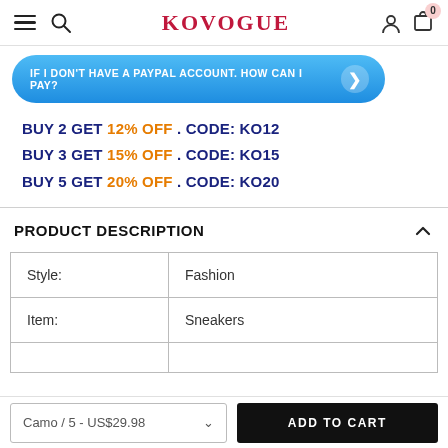KOVOGUE
[Figure (infographic): Blue pill-shaped button: IF I DON'T HAVE A PAYPAL ACCOUNT. HOW CAN I PAY? with arrow]
BUY 2 GET 12% OFF . CODE: KO12
BUY 3 GET 15% OFF . CODE: KO15
BUY 5 GET 20% OFF . CODE: KO20
PRODUCT DESCRIPTION
| Style: | Fashion |
| Item: | Sneakers |